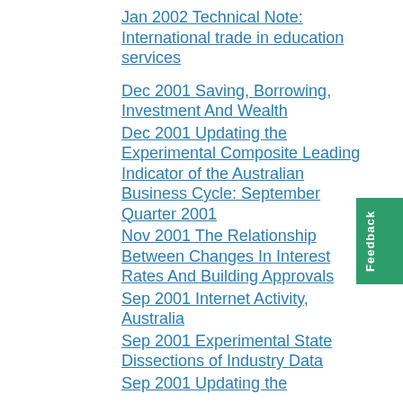Jan 2002 Technical Note: International trade in education services
Dec 2001 Saving, Borrowing, Investment And Wealth
Dec 2001 Updating the Experimental Composite Leading Indicator of the Australian Business Cycle: September Quarter 2001
Nov 2001 The Relationship Between Changes In Interest Rates And Building Approvals
Sep 2001 Internet Activity, Australia
Sep 2001 Experimental State Dissections of Industry Data
Sep 2001 Updating the